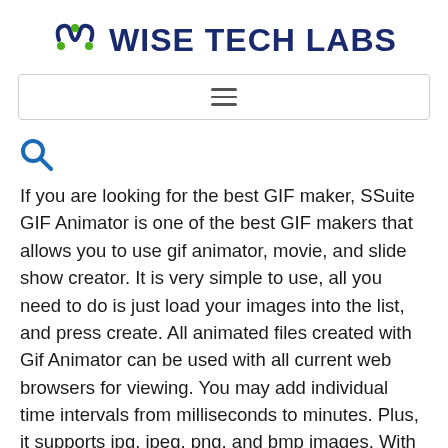WISE TECH LABS
[Figure (other): Navigation bar with hamburger menu icon]
[Figure (other): Search icon (magnifying glass)]
If you are looking for the best GIF maker, SSuite GIF Animator is one of the best GIF makers that allows you to use gif animator, movie, and slide show creator. It is very simple to use, all you need to do is just load your images into the list, and press create. All animated files created with Gif Animator can be used with all current web browsers for viewing. You may add individual time intervals from milliseconds to minutes. Plus, it supports jpg, jpeg, png, and bmp images. With this tool, you may also create small gif movies and share them with all your family and friends. You may use this free quality